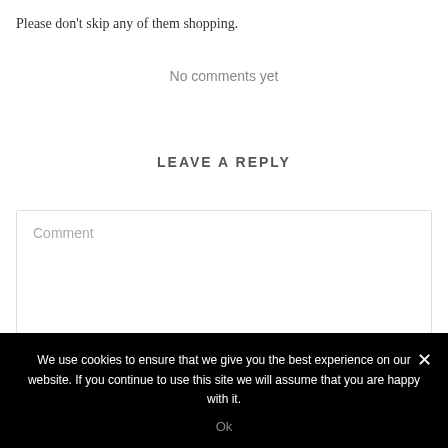Please don't skip any of them shopping.
No comments yet
LEAVE A REPLY
Comment
We use cookies to ensure that we give you the best experience on our website. If you continue to use this site we will assume that you are happy with it.
Ok